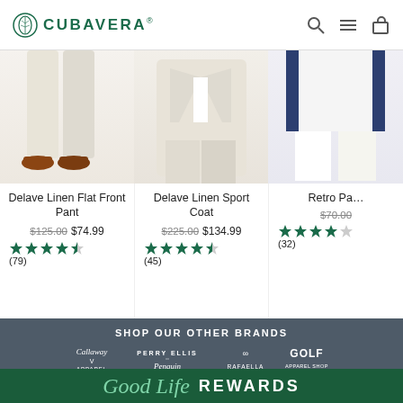CUBAVERA
[Figure (screenshot): Product image: Delave Linen Flat Front Pant - man's legs in cream linen pants with brown shoes]
Delave Linen Flat Front Pant
$125.00  $74.99
4.5 stars (79)
[Figure (screenshot): Product image: Delave Linen Sport Coat - man in cream linen sport coat]
Delave Linen Sport Coat
$225.00  $134.99
4.5 stars (45)
[Figure (screenshot): Product image: Retro Pa... - partially visible product with white/navy clothing]
Retro Pa...
$70.00
4 stars (32)
SHOP OUR OTHER BRANDS
[Figure (logo): Brand logos: Callaway Apparel, Perry Ellis / Original Penguin, Rafaella, Golf Apparel Shop]
[Figure (logo): Good Life REWARDS loyalty program banner with teal background]